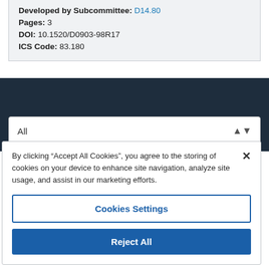Developed by Subcommittee: D14.80
Pages: 3
DOI: 10.1520/D0903-98R17
ICS Code: 83.180
All
By clicking "Accept All Cookies", you agree to the storing of cookies on your device to enhance site navigation, analyze site usage, and assist in our marketing efforts.
Cookies Settings
Reject All